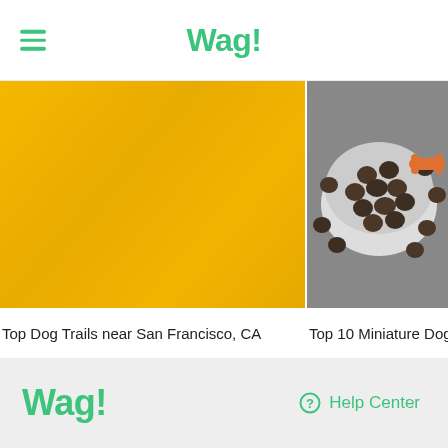Wag!
[Figure (photo): Yellow/golden textured background image for article card]
Top Dog Trails near San Francisco, CA
[Figure (photo): Bowl of dry dog food kibble on grey surface with orange bone treat]
Top 10 Miniature Dog
Wag! Help Center